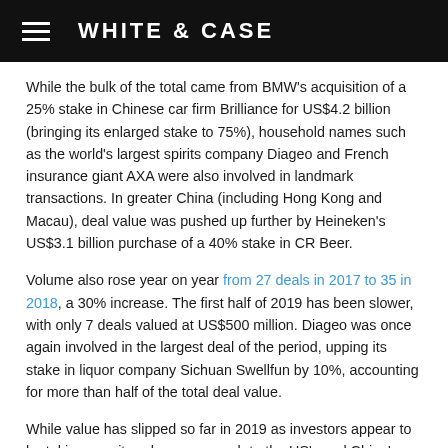WHITE & CASE
While the bulk of the total came from BMW's acquisition of a 25% stake in Chinese car firm Brilliance for US$4.2 billion (bringing its enlarged stake to 75%), household names such as the world's largest spirits company Diageo and French insurance giant AXA were also involved in landmark transactions. In greater China (including Hong Kong and Macau), deal value was pushed up further by Heineken's US$3.1 billion purchase of a 40% stake in CR Beer.
Volume also rose year on year from 27 deals in 2017 to 35 in 2018, a 30% increase. The first half of 2019 has been slower, with only 7 deals valued at US$500 million. Diageo was once again involved in the largest deal of the period, upping its stake in liquor company Sichuan Swellfun by 10%, accounting for more than half of the total deal value.
While value has slipped so far in 2019 as investors appear to be taking a wait-and-see approach to the US's and China's diplomatic wrangling, that could change from 2020 when the Foreign